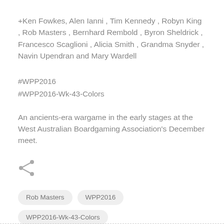+Ken Fowkes, Alen Ianni , Tim Kennedy , Robyn King , Rob Masters , Bernhard Rembold , Byron Sheldrick , Francesco Scaglioni , Alicia Smith , Grandma Snyder , Navin Upendran and Mary Wardell
#WPP2016
#WPP2016-Wk-43-Colors
An ancients-era wargame in the early stages at the West Australian Boardgaming Association's December meet.
[Figure (illustration): Share icon (less-than angle bracket style share symbol)]
Rob Masters
WPP2016
WPP2016-Wk-43-Colors